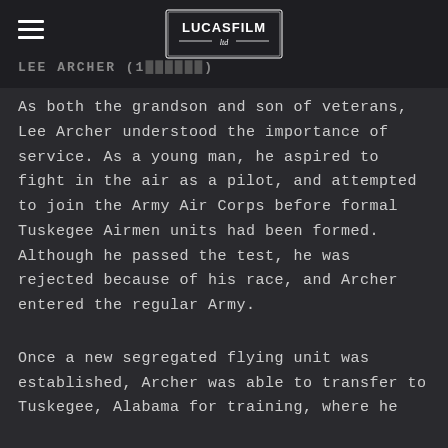[Figure (logo): Lucasfilm Ltd logo in white text on dark background]
LEE ARCHER (1......)
As both the grandson and son of veterans, Lee Archer understood the importance of service. As a young man, he aspired to fight in the air as a pilot, and attempted to join the Army Air Corps before formal Tuskegee Airmen units had been formed. Although he passed the test, he was rejected because of his race, and Archer entered the regular Army.
Once a new segregated flying unit was established, Archer was able to transfer to Tuskegee, Alabama for training, where he